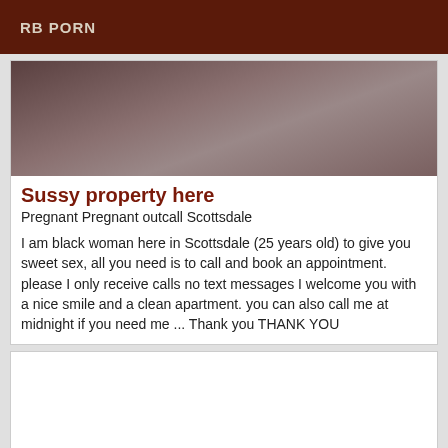RB PORN
[Figure (photo): A blurry close-up photo with dark brownish and grayish tones, appearing to show fabric or skin.]
Sussy property here
Pregnant Pregnant outcall Scottsdale
I am black woman here in Scottsdale (25 years old) to give you sweet sex, all you need is to call and book an appointment. please I only receive calls no text messages I welcome you with a nice smile and a clean apartment. you can also call me at midnight if you need me ... Thank you THANK YOU